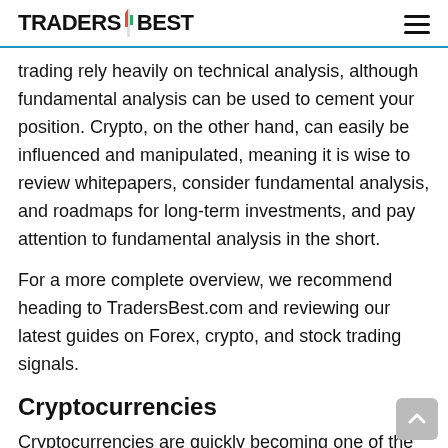TRADERS BEST
trading rely heavily on technical analysis, although fundamental analysis can be used to cement your position. Crypto, on the other hand, can easily be influenced and manipulated, meaning it is wise to review whitepapers, consider fundamental analysis, and roadmaps for long-term investments, and pay attention to fundamental analysis in the short.
For a more complete overview, we recommend heading to TradersBest.com and reviewing our latest guides on Forex, crypto, and stock trading signals.
Cryptocurrencies
Cryptocurrencies are quickly becoming one of the most popular assets to trade across the US. Due to its volatility, the risks and rewards can be far greater than